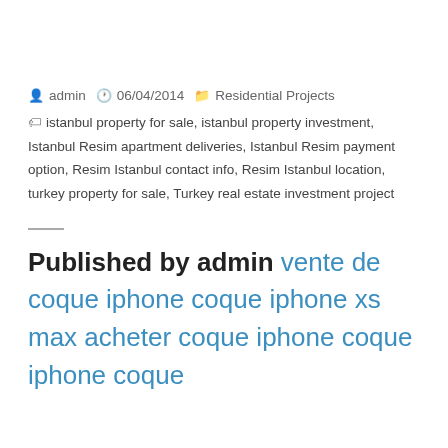By admin  06/04/2014  Residential Projects  istanbul property for sale, istanbul property investment, Istanbul Resim apartment deliveries, Istanbul Resim payment option, Resim Istanbul contact info, Resim Istanbul location, turkey property for sale, Turkey real estate investment project
Published by admin vente de coque iphone coque iphone xs max acheter coque iphone coque iphone coque